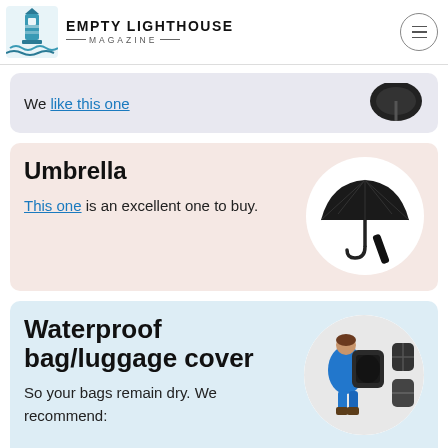EMPTY LIGHTHOUSE MAGAZINE
We like this one
Umbrella
This one is an excellent one to buy.
[Figure (photo): Black folding umbrella product image on white circular background]
Waterproof bag/luggage cover
So your bags remain dry. We recommend:
[Figure (photo): Person wearing blue jacket with large backpack and waterproof bag cover, plus separate product images of black covers]